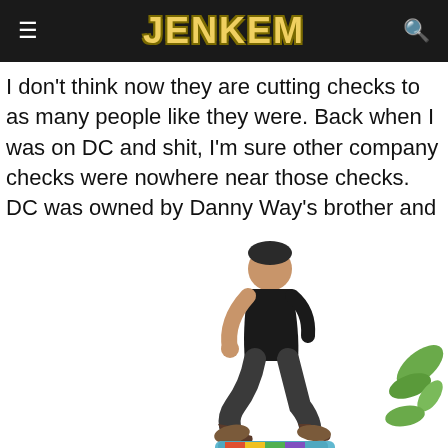JENKEM
I don't think now they are cutting checks to as many people like they were. Back when I was on DC and shit, I'm sure other company checks were nowhere near those checks. DC was owned by Danny Way's brother and Ken Block, so it was laid back, it wasn't like some dude in a fucking suit. My royalties was straight nonsense but my minimum was like supporting everyone around me.
[Figure (photo): A skateboarder in a black outfit performing a trick in the air, with a colorful skateboard visible below. A green plant is partially visible on the right edge.]